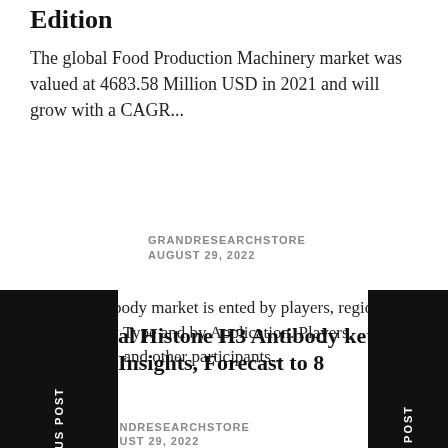Edition
The global Food Production Machinery market was valued at 4683.58 Million USD in 2021 and will grow with a CAGR...
GRANDRESEARCHSTORE
AUGUST 29, 2022
al Histone H3 Antibody ket Insights, Forecast to 8
one H3 Antibody market is ented by players, region (country), by Type and by Application. Players, stakeholders, and other participants...
GRANDRESEARCHSTORE
AUGUST 29, 2022